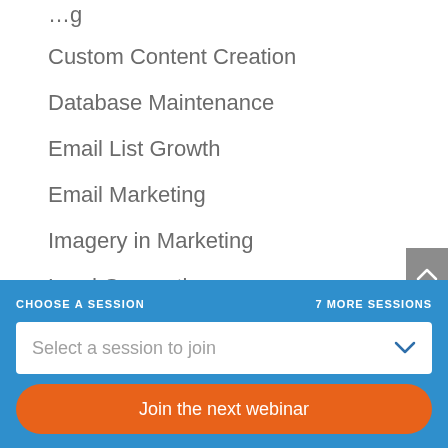Custom Content Creation
Database Maintenance
Email List Growth
Email Marketing
Imagery in Marketing
Lead Generation
Lead Management
LinkedIn
Marketing Technology
CHOOSE A SESSION
7 MORE SESSIONS
Select a session to join
Join the next webinar